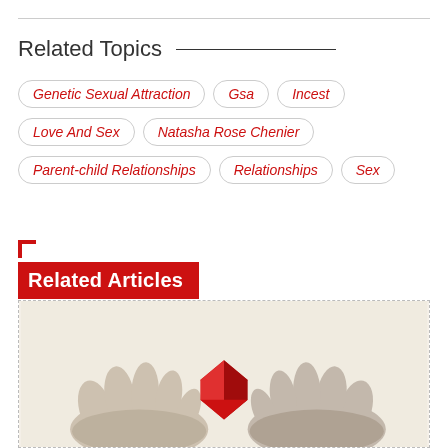Related Topics
Genetic Sexual Attraction
Gsa
Incest
Love And Sex
Natasha Rose Chenier
Parent-child Relationships
Relationships
Sex
Related Articles
[Figure (photo): Black and white photo of two hands exchanging a red origami heart shape, set against a light beige/cream background.]